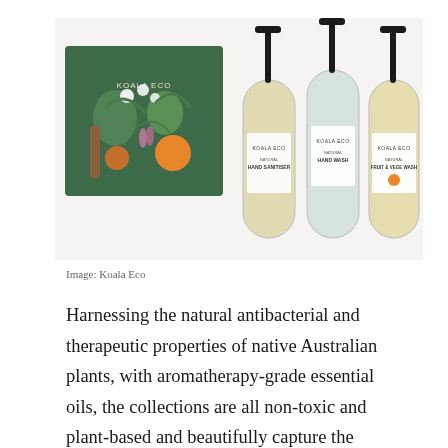[Figure (photo): Koala Eco product photo showing a green gift box with botanical illustration on the left, and three clear pump bottles of Koala Eco products (Hand Sanitiser, Hand Wash, Fruit & Vege Wash) on the right, against a white background.]
Image: Koala Eco
Harnessing the natural antibacterial and therapeutic properties of native Australian plants, with aromatherapy-grade essential oils, the collections are all non-toxic and plant-based and beautifully capture the natural scents of Australia. Each pump or spritz will transport you to the Blue Gum Forest, Tea Tree